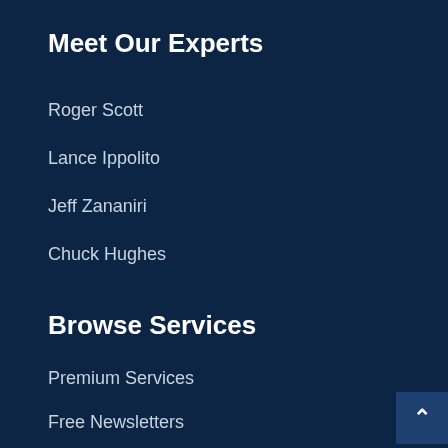Meet Our Experts
Roger Scott
Lance Ippolito
Jeff Zananiri
Chuck Hughes
Browse Services
Premium Services
Free Newsletters
Investing 101
Policies
Privacy Policy